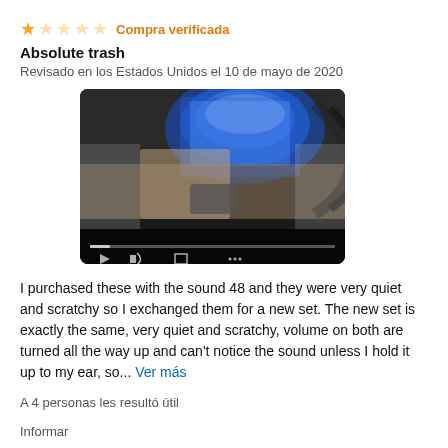★☆☆☆☆ Compra verificada
Absolute trash
Revisado en los Estados Unidos el 10 de mayo de 2020
[Figure (screenshot): Video player screenshot showing a car interior with a glowing blue screen, with playback controls visible at the bottom]
I purchased these with the sound 48 and they were very quiet and scratchy so I exchanged them for a new set. The new set is exactly the same, very quiet and scratchy, volume on both are turned all the way up and can't notice the sound unless I hold it up to my ear, so... Ver más
A 4 personas les resultó útil
Informar